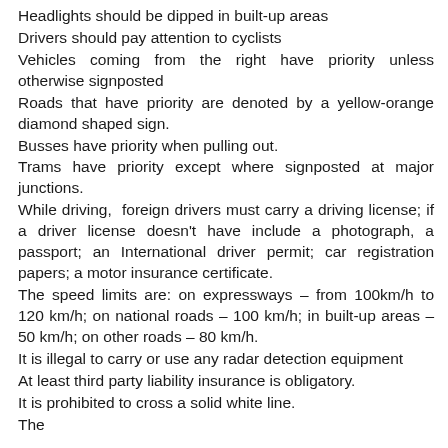Headlights should be dipped in built-up areas
Drivers should pay attention to cyclists
Vehicles coming from the right have priority unless otherwise signposted
Roads that have priority are denoted by a yellow-orange diamond shaped sign.
Busses have priority when pulling out.
Trams have priority except where signposted at major junctions.
While driving, foreign drivers must carry a driving license; if a driver license doesn't have include a photograph, a passport; an International driver permit; car registration papers; a motor insurance certificate.
The speed limits are: on expressways – from 100km/h to 120 km/h; on national roads – 100 km/h; in built-up areas – 50 km/h; on other roads – 80 km/h.
It is illegal to carry or use any radar detection equipment
At least third party liability insurance is obligatory.
It is prohibited to cross a solid white line.
The Netherlands also prohibits driving whilst...